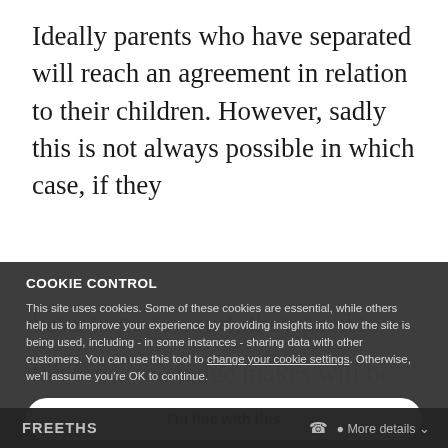Ideally parents who have separated will reach an agreement in relation to their children. However, sadly this is not always possible in which case, if they have to go to court, they need to know the order the judge makes will be of consequence. You should raise any issues regarding your children that you would like to discuss,
[Figure (screenshot): Cookie consent overlay banner on a legal website. Contains bold header 'COOKIE CONTROL', explanatory text about cookie usage including a link 'change your cookie settings', and a white rounded button labeled 'I'm fine with this'. Background is dark gray semi-transparent overlay.]
FREETHS   More details